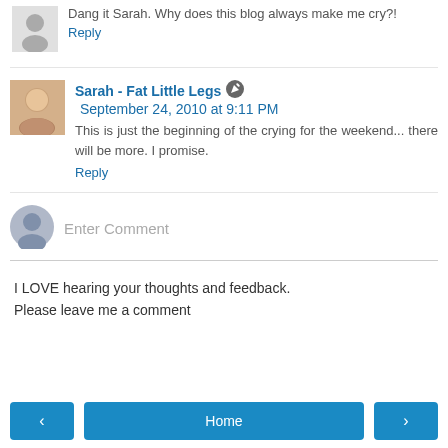Dang it Sarah. Why does this blog always make me cry?!
Reply
Sarah - Fat Little Legs  September 24, 2010 at 9:11 PM
This is just the beginning of the crying for the weekend... there will be more. I promise.
Reply
Enter Comment
I LOVE hearing your thoughts and feedback.
Please leave me a comment